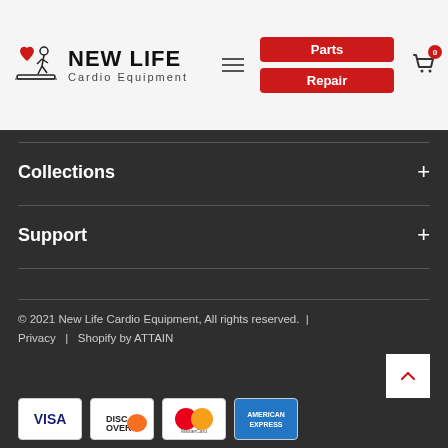New Life Cardio Equipment — Parts | Repair navigation header
Collections
Support
© 2021 New Life Cardio Equipment, All rights reserved.  |  Privacy  |  Shopify by ATTAIN
[Figure (logo): Visa, Discover, MasterCard, American Express payment card logos]